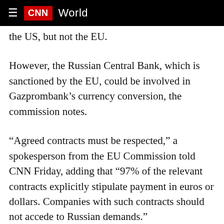CNN World
…the US, but not the EU.
However, the Russian Central Bank, which is sanctioned by the EU, could be involved in Gazprombank's currency conversion, the commission notes.
“Agreed contracts must be respected,” a spokesperson from the EU Commission told CNN Friday, adding that “97% of the relevant contracts explicitly stipulate payment in euros or dollars. Companies with such contracts should not accede to Russian demands.”
“We have carefully analyzed the new decree, and we are in contact with Member State authorities and with energy companies that would be affected. The